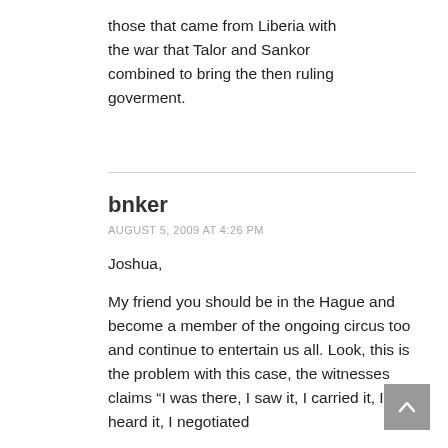those that came from Liberia with the war that Talor and Sankor combined to bring the then ruling goverment.
bnker
AUGUST 5, 2009 AT 4:26 PM
Joshua,
My friend you should be in the Hague and become a member of the ongoing circus too and continue to entertain us all. Look, this is the problem with this case, the witnesses claims “I was there, I saw it, I carried it, I heard it, I negotiated